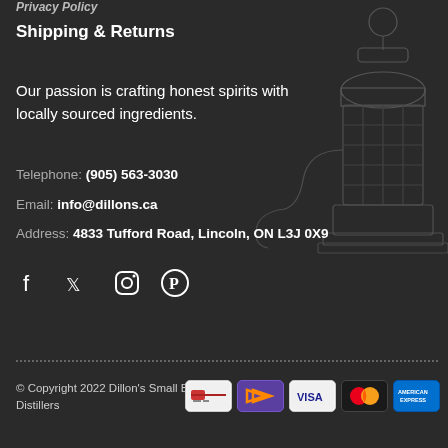Privacy Policy
Shipping & Returns
Our passion is crafting honest spirits with locally sourced ingredients.
Telephone: (905) 563-3030
Email: info@dillons.ca
Address: 4833 Tufford Road, Lincoln, ON L3J 0X9
[Figure (illustration): Line drawing illustration of a distillery still/copper pot still apparatus]
[Figure (infographic): Social media icons: Facebook, Twitter, Instagram, Pinterest]
© Copyright 2022 Dillon's Small Batch Distillers
[Figure (infographic): Payment method icons: generic card, Interac/arrow, Visa, Mastercard, American Express]